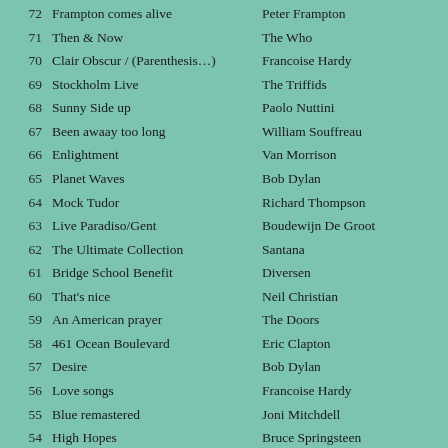72 Frampton comes alive – Peter Frampton
71 Then & Now – The Who
70 Clair Obscur / (Parenthesis…) – Francoise Hardy
69 Stockholm Live – The Triffids
68 Sunny Side up – Paolo Nuttini
67 Been awaay too long – William Souffreau
66 Enlightment – Van Morrison
65 Planet Waves – Bob Dylan
64 Mock Tudor – Richard Thompson
63 Live Paradiso/Gent – Boudewijn De Groot
62 The Ultimate Collection – Santana
61 Bridge School Benefit – Diversen
60 That's nice – Neil Christian
59 An American prayer – The Doors
58 461 Ocean Boulevard – Eric Clapton
57 Desire – Bob Dylan
56 Love songs – Francoise Hardy
55 Blue remastered – Joni Mitchdell
54 High Hopes – Bruce Springsteen
53 Live at Kelvin Hall – The Kinks
52 Free at Last – Free